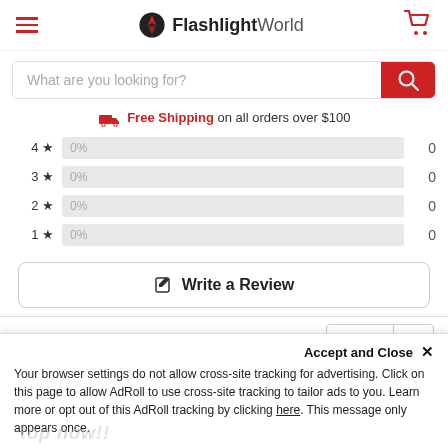FlashlightWorld — navigation header with hamburger menu, logo, and cart icon
What are you looking for?
Free Shipping on all orders over $100
| Stars | Bar | Count |
| --- | --- | --- |
| 4 ★ | 0% | 0 |
| 3 ★ | 0% | 0 |
| 2 ★ | 0% | 0 |
| 1 ★ | 0% | 0 |
✎ Write a Review
Sort
Accept and Close ✕ Your browser settings do not allow cross-site tracking for advertising. Click on this page to allow AdRoll to use cross-site tracking to tailor ads to you. Learn more or opt out of this AdRoll tracking by clicking here. This message only appears once.